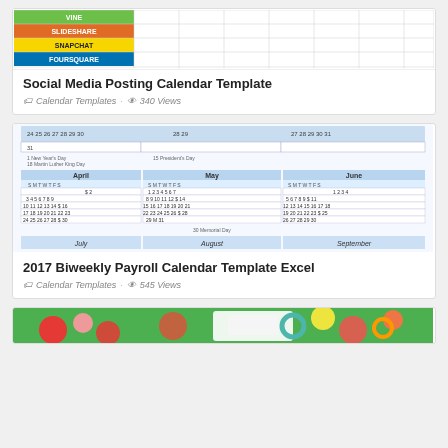[Figure (screenshot): Social Media Posting Calendar Template thumbnail showing a spreadsheet with colored social media platform labels: VINE (green), SLIDESHARE (orange), SNAPCHAT (yellow), FOURSQUARE (blue)]
Social Media Posting Calendar Template
Calendar Templates · 340 Views
[Figure (screenshot): 2017 Biweekly Payroll Calendar Template Excel thumbnail showing a calendar grid with months April, May, June, July, August, September]
2017 Biweekly Payroll Calendar Template Excel
Calendar Templates · 545 Views
[Figure (photo): Colorful circular decorations or ornaments on a tablet/device - partial view at bottom of page]